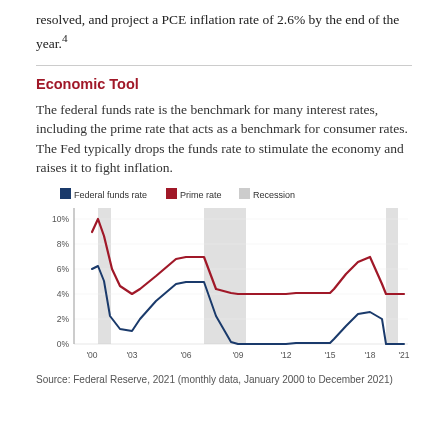resolved, and project a PCE inflation rate of 2.6% by the end of the year.⁴
Economic Tool
The federal funds rate is the benchmark for many interest rates, including the prime rate that acts as a benchmark for consumer rates. The Fed typically drops the funds rate to stimulate the economy and raises it to fight inflation.
[Figure (line-chart): ]
Source: Federal Reserve, 2021 (monthly data, January 2000 to December 2021)